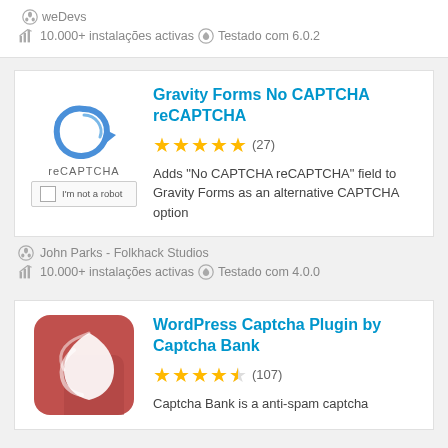weDevs
10.000+ instalações activas  Testado com 6.0.2
Gravity Forms No CAPTCHA reCAPTCHA
[Figure (logo): reCAPTCHA widget logo with checkbox and 'I'm not a robot' text]
★★★★★ (27)
Adds "No CAPTCHA reCAPTCHA" field to Gravity Forms as an alternative CAPTCHA option
John Parks - Folkhack Studios
10.000+ instalações activas  Testado com 4.0.0
WordPress Captcha Plugin by Captcha Bank
[Figure (logo): Red rounded square icon with white shield/leaf design for Captcha Bank plugin]
★★★★½ (107)
Captcha Bank is a anti-spam captcha